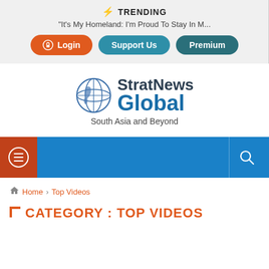⚡ TRENDING
"It's My Homeland: I'm Proud To Stay In M...
Login | Support Us | Premium
[Figure (logo): StratNews Global logo with globe icon and tagline 'South Asia and Beyond']
South Asia and Beyond
Navigation bar with hamburger menu and search icon
Home > Top Videos
CATEGORY : TOP VIDEOS